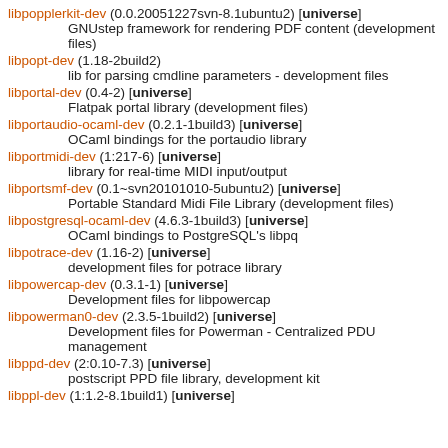libpopplerkit-dev (0.0.20051227svn-8.1ubuntu2) [universe]
    GNUstep framework for rendering PDF content (development files)
libpopt-dev (1.18-2build2)
    lib for parsing cmdline parameters - development files
libportal-dev (0.4-2) [universe]
    Flatpak portal library (development files)
libportaudio-ocaml-dev (0.2.1-1build3) [universe]
    OCaml bindings for the portaudio library
libportmidi-dev (1:217-6) [universe]
    library for real-time MIDI input/output
libportsmf-dev (0.1~svn20101010-5ubuntu2) [universe]
    Portable Standard Midi File Library (development files)
libpostgresql-ocaml-dev (4.6.3-1build3) [universe]
    OCaml bindings to PostgreSQL's libpq
libpotrace-dev (1.16-2) [universe]
    development files for potrace library
libpowercap-dev (0.3.1-1) [universe]
    Development files for libpowercap
libpowerman0-dev (2.3.5-1build2) [universe]
    Development files for Powerman - Centralized PDU management
libppd-dev (2:0.10-7.3) [universe]
    postscript PPD file library, development kit
libppl-dev (1:1.2-8.1build1) [universe]